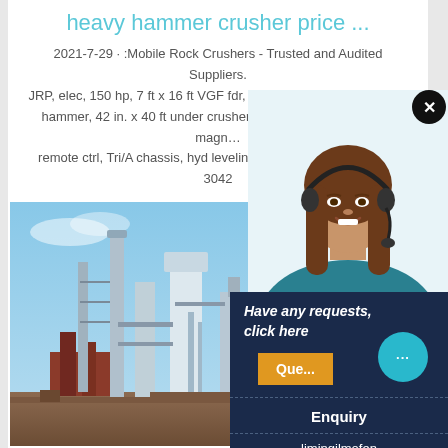heavy hammer crusher price ...
2021-7-29 · :Mobile Rock Crushers - Trusted and Audited Suppliers. JRP, elec, 150 hp, 7 ft x 16 ft VGF fdr, hopper wings, pedestal hyd hammer, 42 in. x 40 ft under crusher frt discharge conv, 34 in. magn… remote ctrl, Tri/A chassis, hyd leveling more 2013 CEC MINYU 3042
CHAT ONLINE
[Figure (photo): Industrial factory/plant with tall industrial towers, silos and structures against a blue sky]
[Figure (photo): Customer service agent woman with headset smiling]
Have any requests, click here
Que...
Enquiry
limingjlmofen@sina.com